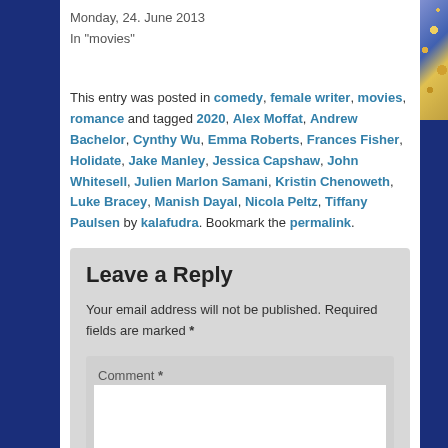Monday, 24. June 2013
In "movies"
This entry was posted in comedy, female writer, movies, romance and tagged 2020, Alex Moffat, Andrew Bachelor, Cynthy Wu, Emma Roberts, Frances Fisher, Holidate, Jake Manley, Jessica Capshaw, John Whitesell, Julien Marlon Samani, Kristin Chenoweth, Luke Bracey, Manish Dayal, Nicola Peltz, Tiffany Paulsen by kalafudra. Bookmark the permalink.
Leave a Reply
Your email address will not be published. Required fields are marked *
Comment *